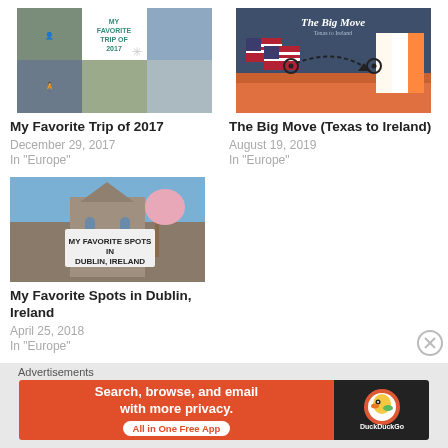[Figure (photo): Thumbnail collage for My Favorite Trip of 2017 blog post]
My Favorite Trip of 2017
December 29, 2017
In "Europe"
[Figure (photo): Thumbnail for The Big Move (Texas to Ireland) blog post showing US and Ireland flags]
The Big Move (Texas to Ireland)
August 19, 2019
In "Europe"
[Figure (photo): Thumbnail for My Favorite Spots in Dublin, Ireland blog post showing a building with a sign]
My Favorite Spots in Dublin, Ireland
April 25, 2018
In "Europe"
Advertisements
[Figure (screenshot): DuckDuckGo advertisement: Search, browse, and email with more privacy. All in One Free App]